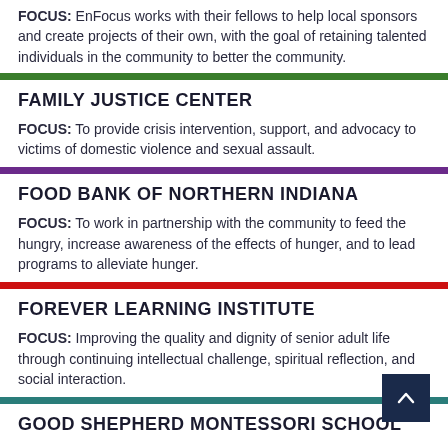FOCUS: EnFocus works with their fellows to help local sponsors and create projects of their own, with the goal of retaining talented individuals in the community to better the community.
FAMILY JUSTICE CENTER
FOCUS: To provide crisis intervention, support, and advocacy to victims of domestic violence and sexual assault.
FOOD BANK OF NORTHERN INDIANA
FOCUS: To work in partnership with the community to feed the hungry, increase awareness of the effects of hunger, and to lead programs to alleviate hunger.
FOREVER LEARNING INSTITUTE
FOCUS: Improving the quality and dignity of senior adult life through continuing intellectual challenge, spiritual reflection, and social interaction.
GOOD SHEPHERD MONTESSORI SCHOOL